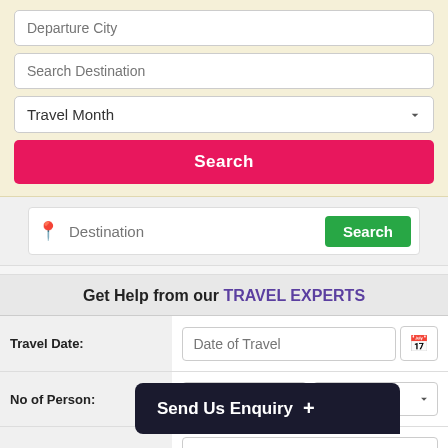Departure City
Search Destination
Travel Month
Search
Destination
Search
Get Help from our TRAVEL EXPERTS
Travel Date: Date of Travel
No of Person: Adults Child
Your City: Departure City
Duration: Duration
Customization Message:
Send Us Enquiry +